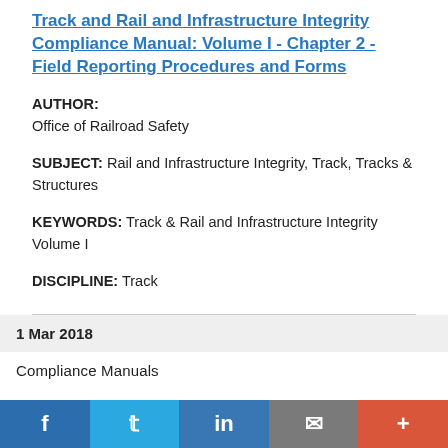Track and Rail and Infrastructure Integrity Compliance Manual: Volume I - Chapter 2 - Field Reporting Procedures and Forms
AUTHOR: Office of Railroad Safety
SUBJECT: Rail and Infrastructure Integrity, Track, Tracks & Structures
KEYWORDS: Track & Rail and Infrastructure Integrity Volume I
DISCIPLINE: Track
1 Mar 2018
Compliance Manuals